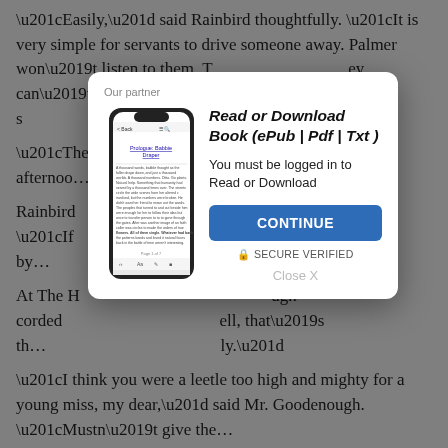“Easily,” said Rainbird thoughtfully. “It is very simple for servants to drive someone away. Palmer won’t listen to them. T… ey can’t tal… George, I have s… only I could re…
“There’s… ng this afternoo… es lit.”
Rainbird… ith a grin. “If… ight now by… Whip them up…
At The H… ugh corded… ell, that’s th… ly.”
“I think you were a leetle too high and mighty for a young miss, my dear,” said Mr. Goodenough. “Mustn’t give the…
[Figure (screenshot): Modal dialog overlay with partner label, smartphone illustration showing an eBook reader app, title 'Read or Download Book (￼ePub | Pdf | Txt)', login prompt 'You must be logged in to Read or Download', a blue CONTINUE button, SECURE VERIFIED notice, and Close X link.]